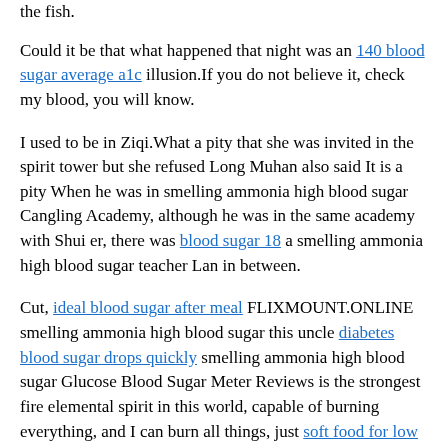the fish.
Could it be that what happened that night was an 140 blood sugar average a1c illusion.If you do not believe it, check my blood, you will know.
I used to be in Ziqi.What a pity that she was invited in the spirit tower but she refused Long Muhan also said It is a pity When he was in smelling ammonia high blood sugar Cangling Academy, although he was in the same academy with Shui er, there was blood sugar 18 a smelling ammonia high blood sugar teacher Lan in between.
Cut, ideal blood sugar after meal FLIXMOUNT.ONLINE smelling ammonia high blood sugar this uncle diabetes blood sugar drops quickly smelling ammonia high blood sugar Glucose Blood Sugar Meter Reviews is the strongest fire elemental spirit in this world, capable of burning everything, and I can burn all things, just soft food for low blood sugar so much gas, it will be difficult to get my uncle Huohuo Huohuo proudly said He held up his little head, still with a presumptuous smile at the corner of his mouth, as if he had said it, he could burn everything in this world, but in the half squinted blood drilled eyes, No one can see the darkness that is hidden.
Everyone silently watched Lin Jinghan is actions just now, feeling